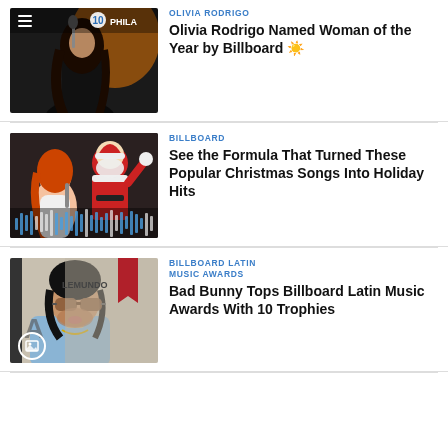[Figure (photo): Olivia Rodrigo performing on stage with microphone, NBC10 Philadelphia overlay and hamburger menu icon]
OLIVIA RODRIGO
Olivia Rodrigo Named Woman of the Year by Billboard
[Figure (photo): Mariah Carey and Santa Claus performing with audio waveform graphic overlay]
BILLBOARD
See the Formula That Turned These Popular Christmas Songs Into Holiday Hits
[Figure (photo): Bad Bunny wearing sunglasses in light blue suit, Telemundo backdrop, gallery icon overlay]
BILLBOARD LATIN MUSIC AWARDS
Bad Bunny Tops Billboard Latin Music Awards With 10 Trophies